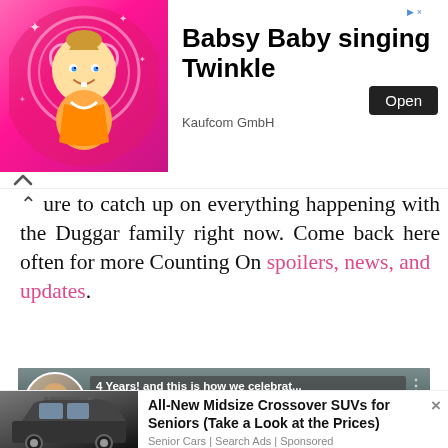[Figure (screenshot): Advertisement banner for 'Babsy Baby singing Twinkle' app by Kaufcom GmbH with animated baby image and Open button]
Be sure to catch up on everything happening with the Duggar family right now. Come back here often for more Counting On spoilers, news, and updates.
[Figure (screenshot): YouTube video thumbnail showing two people kayaking with title '4 Years! and this is how we celebrat...' and YouTube play button]
[Figure (screenshot): Advertisement for 'All-New Midsize Crossover SUVs for Seniors (Take a Look at the Prices)' by Senior Cars | Search Ads | Sponsored with SUV image]